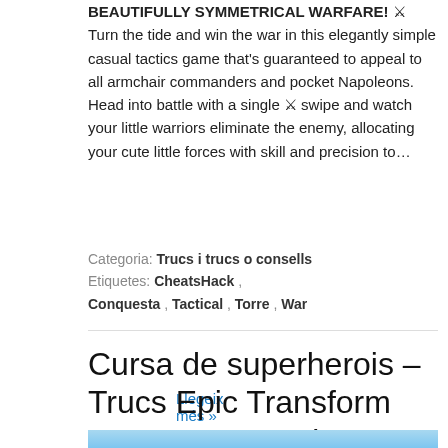BEAUTIFULLY SYMMETRICAL WARFARE! ⚔ Turn the tide and win the war in this elegantly simple casual tactics game that's guaranteed to appeal to all armchair commanders and pocket Napoleons. Head into battle with a single ⚔ swipe and watch your little warriors eliminate the enemy, allocating your cute little forces with skill and precision to…
Llegeix més »
Categoria: Trucs i trucs o consells  Etiquetes: CheatsHack , Conquesta , Tactical , Torre , War
Cursa de superherois – Trucs Epic Transform Race 3D&Cop de destral
[Figure (illustration): Partial view of a game screenshot with a light blue sky background and cartoon character elements at the bottom right]